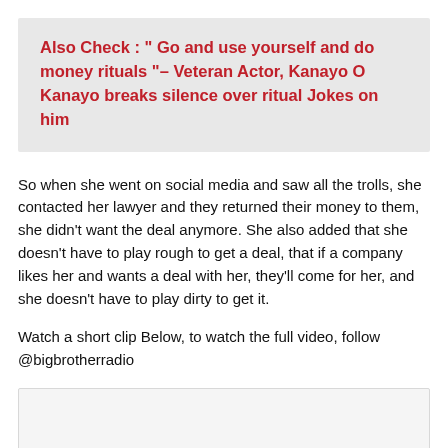Also Check : " Go and use yourself and do money rituals "– Veteran Actor, Kanayo O Kanayo breaks silence over ritual Jokes on him
So when she went on social media and saw all the trolls, she contacted her lawyer and they returned their money to them, she didn't want the deal anymore. She also added that she doesn't have to play rough to get a deal, that if a company likes her and wants a deal with her, they'll come for her, and she doesn't have to play dirty to get it.
Watch a short clip Below, to watch the full video, follow @bigbrotherradio
[Figure (other): Embedded media player box (blank/loading)]